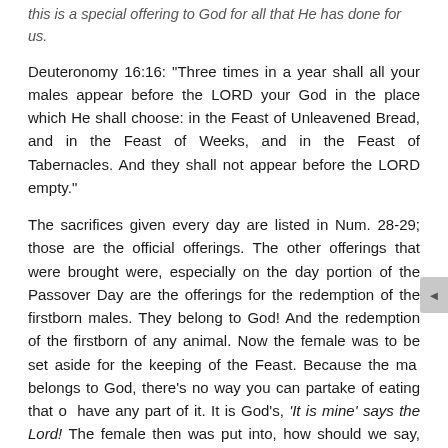this is a special offering to God for all that He has done for us.
Deuteronomy 16:16: "Three times in a year shall all your males appear before the LORD your God in the place which He shall choose: in the Feast of Unleavened Bread, and in the Feast of Weeks, and in the Feast of Tabernacles. And they shall not appear before the LORD empty."
The sacrifices given every day are listed in Num. 28-29; those are the official offerings. The other offerings that were brought were, especially on the day portion of the Passover Day are the offerings for the redemption of the firstborn males. They belong to God! And the redemption of the firstborn of any animal. Now the female was to be set aside for the keeping of the Feast. Because the male belongs to God, there's no way you can partake of eating that or have any part of it. It is God's, 'It is mine' says the Lord! The female then was put into, how should we say, the festival funds. He says you shall give an offering.
"...they shall not appear before the LORD empty, every man shall give as he is able, according to the blessing of the LORD your God, which He has given you" (vs 16-17).
So, you need to calculate and figure out how much God has blessed you. Let's also understand something else: Living today in the entitlement society that we have, a lot of people just expect